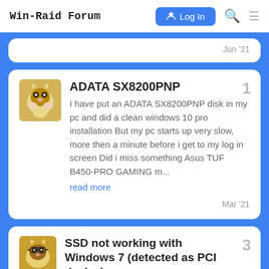Win-Raid Forum  Log In
Jun '21
ADATA SX8200PNP
I have put an ADATA SX8200PNP disk in my pc and did a clean windows 10 pro installation But my pc starts up very slow, more then a minute before i get to my log in screen Did i miss something Asus TUF B450-PRO GAMING m...
read more
Mar '21
SSD not working with Windows 7 (detected as PCI device)